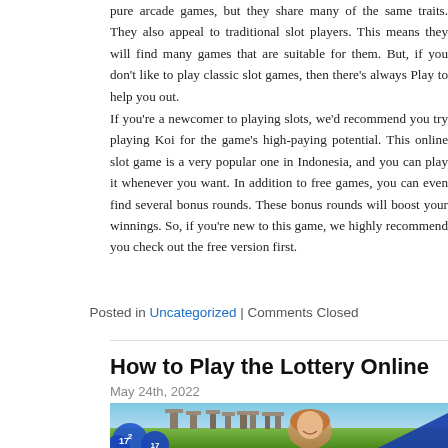pure arcade games, but they share many of the same traits. They also appeal to traditional slot players. This means they will find many games that are suitable for them. But, if you don't like to play classic slot games, then there's always Play to help you out.
If you're a newcomer to playing slots, we'd recommend you try playing Koi for the game's high-paying potential. This online slot game is a very popular one in Indonesia, and you can play it whenever you want. In addition to free games, you can even find several bonus rounds. These bonus rounds will boost your winnings. So, if you're new to this game, we highly recommend you check out the free version first.
Posted in Uncategorized | Comments Closed
How to Play the Lottery Online
May 24th, 2022
[Figure (photo): Photo of a smiling blonde woman in front of Stonehenge, with blue lottery balls in the foreground and blue graphic elements.]